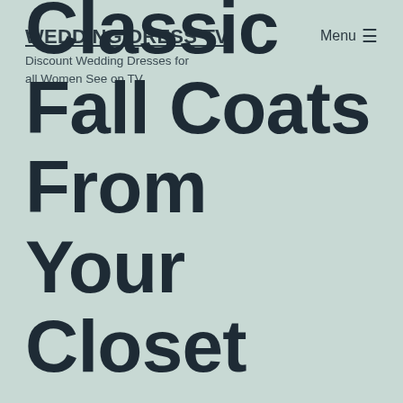WEDDING DRESS TV
Discount Wedding Dresses for all Women See on TV
Menu ☰
Classic Fall Coats From Your Closet